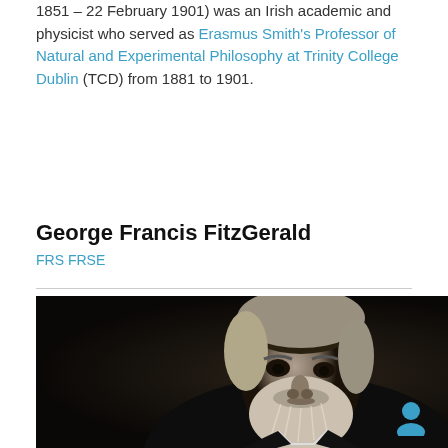1851 – 22 February 1901) was an Irish academic and physicist who served as Erasmus Smith's Professor of Natural and Experimental Philosophy at Trinity College Dublin (TCD) from 1881 to 1901.
George Francis FitzGerald
FRS FRSE
[Figure (photo): Black and white portrait photograph of George Francis FitzGerald, an older man with a long white beard and wavy hair, wearing a dark jacket.]